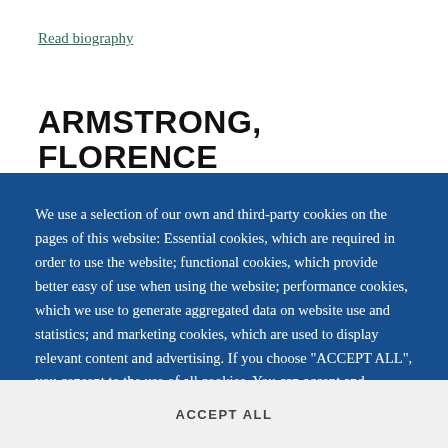Read biography
ARMSTRONG, FLORENCE
We use a selection of our own and third-party cookies on the pages of this website: Essential cookies, which are required in order to use the website; functional cookies, which provide better easy of use when using the website; performance cookies, which we use to generate aggregated data on website use and statistics; and marketing cookies, which are used to display relevant content and advertising. If you choose "ACCEPT ALL", you consent to the use of all cookies. You can accept and
ACCEPT ALL